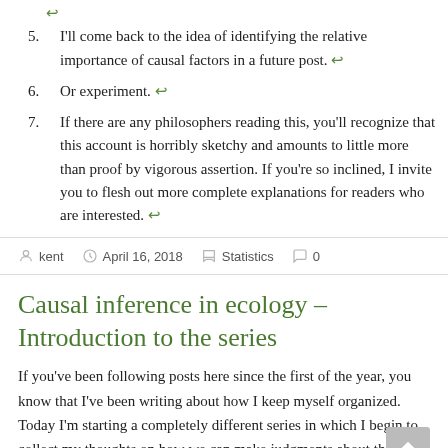↩
5. I'll come back to the idea of identifying the relative importance of causal factors in a future post. ↩
6. Or experiment. ↩
7. If there are any philosophers reading this, you'll recognize that this account is horribly sketchy and amounts to little more than proof by vigorous assertion. If you're so inclined, I invite you to flesh out more complete explanations for readers who are interested. ↩
kent  April 16, 2018  Statistics  0
Causal inference in ecology – Introduction to the series
If you've been following posts here since the first of the year, you know that I've been writing about how I keep myself organized. Today I'm starting a completely different series in which I begin to collect my thoughts on how we can make judgments about the cause (or causes) of ecological phenomena¹ and the circumstances under